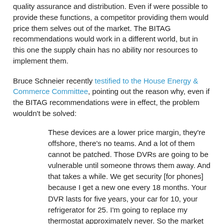quality assurance and distribution. Even if were possible to provide these functions, a competitor providing them would price them selves out of the market. The BITAG recommendations would work in a different world, but in this one the supply chain has no ability nor resources to implement them.
Bruce Schneier recently testified to the House Energy & Commerce Committee, pointing out the reason why, even if the BITAG recommendations were in effect, the problem wouldn't be solved:
These devices are a lower price margin, they're offshore, there's no teams. And a lot of them cannot be patched. Those DVRs are going to be vulnerable until someone throws them away. And that takes a while. We get security [for phones] because I get a new one every 18 months. Your DVR lasts for five years, your car for 10, your refrigerator for 25. I'm going to replace my thermostat approximately never. So the market really can't fix this.